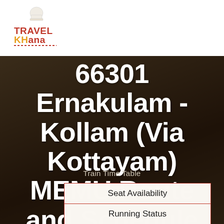[Figure (logo): Travel Khana logo with chef hat icon and red/gold text]
66301 Ernakulam - Kollam (Via Kottayam) MEMU Route and Schedule
Train Time Table
| Seat Availability |
| Running Status |